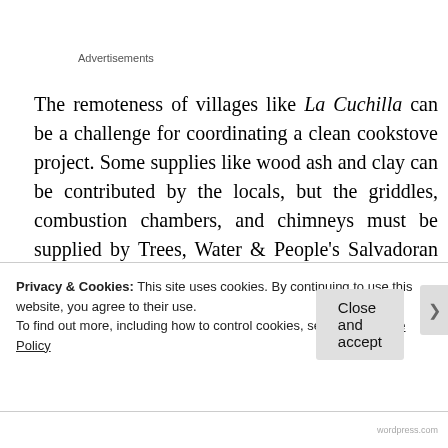Advertisements
The remoteness of villages like La Cuchilla can be a challenge for coordinating a clean cookstove project. Some supplies like wood ash and clay can be contributed by the locals, but the griddles, combustion chambers, and chimneys must be supplied by Trees, Water & People's Salvadoran partner, Árboles y Agua para El Pueblo. When extra
Privacy & Cookies: This site uses cookies. By continuing to use this website, you agree to their use.
To find out more, including how to control cookies, see here: Cookie Policy
Close and accept